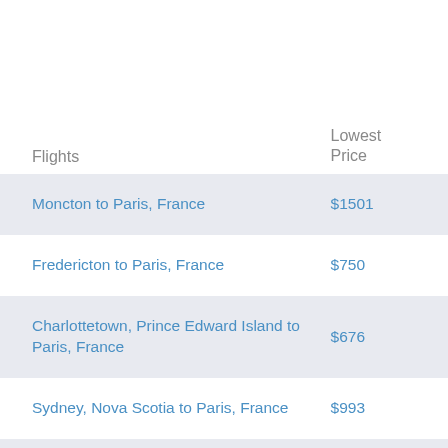| Flights | Lowest Price |
| --- | --- |
| Moncton to Paris, France | $1501 |
| Fredericton to Paris, France | $750 |
| Charlottetown, Prince Edward Island to Paris, France | $676 |
| Sydney, Nova Scotia to Paris, France | $993 |
| St John to Paris, France | $725 |
| Moncton to London, United Kingdom | $2123 |